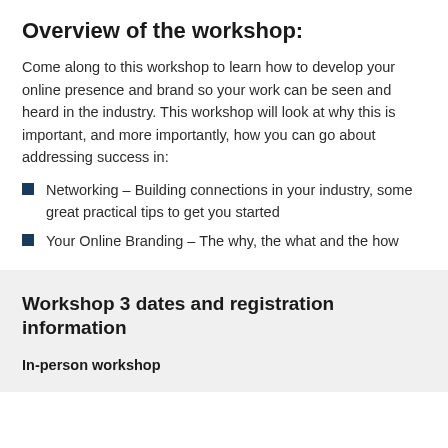Overview of the workshop:
Come along to this workshop to learn how to develop your online presence and brand so your work can be seen and heard in the industry. This workshop will look at why this is important, and more importantly, how you can go about addressing success in:
Networking – Building connections in your industry, some great practical tips to get you started
Your Online Branding – The why, the what and the how
Workshop 3 dates and registration information
In-person workshop